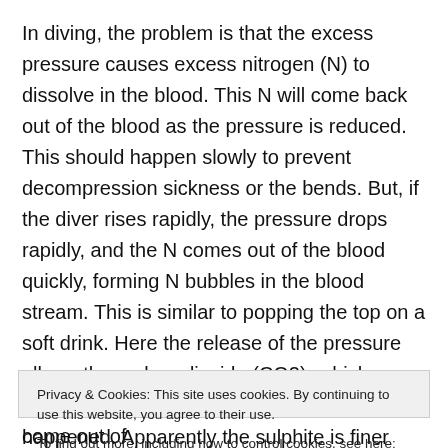In diving, the problem is that the excess pressure causes excess nitrogen (N) to dissolve in the blood. This N will come back out of the blood as the pressure is reduced. This should happen slowly to prevent decompression sickness or the bends. But, if the diver rises rapidly, the pressure drops rapidly, and the N comes out of the blood quickly, forming N bubbles in the blood stream. This is similar to popping the top on a soft drink. Here the release of the pressure allows the carbon dioxide (CO2), which was placed into the liquid under pressure, to come out of the liquid and form bubbles. We call this carbonation. A
happened. Apparently the sulphite is finer and not in the
Privacy & Cookies: This site uses cookies. By continuing to use this website, you agree to their use. To find out more, including how to control cookies, see here: Cookie Policy